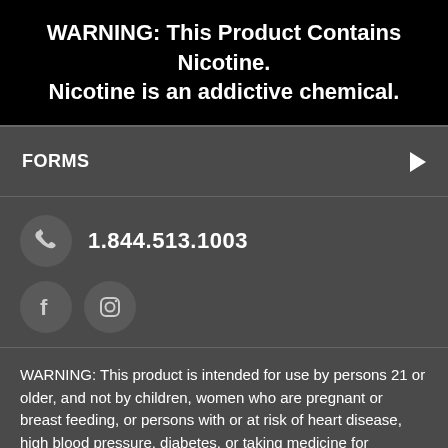WARNING: This Product Contains Nicotine. Nicotine is an addictive chemical.
FORMS
1.844.513.1003
[Figure (infographic): Phone icon in dark circle, Facebook icon in dark circle, Instagram icon in dark circle]
WARNING: This product is intended for use by persons 21 or older, and not by children, women who are pregnant or breast feeding, or persons with or at risk of heart disease, high blood pressure, diabetes, or taking medicine for depression or asthma. If you have a demonstrated allergy or sensitivity to nicotine or any combination of inhalants, consult your physician before using this product. This product is sold purely for recreational purposes - it is not a smoking cessation